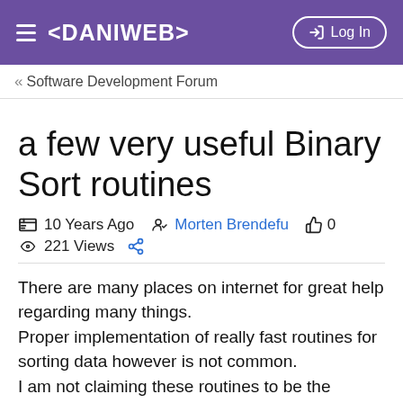<DANIWEB> Log In
« Software Development Forum
a few very useful Binary Sort routines
10 Years Ago  Morten Brendefu  👍 0
221 Views  🔗
There are many places on internet for great help regarding many things.
Proper implementation of really fast routines for sorting data however is not common.
I am not claiming these routines to be the fastest around, but their ease of implementation and use